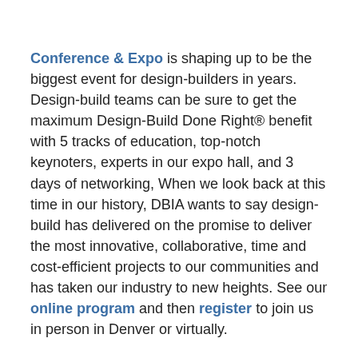Conference & Expo is shaping up to be the biggest event for design-builders in years. Design-build teams can be sure to get the maximum Design-Build Done Right® benefit with 5 tracks of education, top-notch keynoters, experts in our expo hall, and 3 days of networking, When we look back at this time in our history, DBIA wants to say design-build has delivered on the promise to deliver the most innovative, collaborative, time and cost-efficient projects to our communities and has taken our industry to new heights. See our online program and then register to join us in person in Denver or virtually.